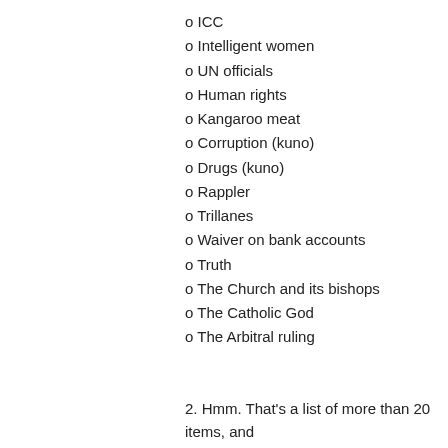ICC
Intelligent women
UN officials
Human rights
Kangaroo meat
Corruption (kuno)
Drugs (kuno)
Rappler
Trillanes
Waiver on bank accounts
Truth
The Church and its bishops
The Catholic God
The Arbitral ruling
2. Hmm. That's a list of more than 20 items, and